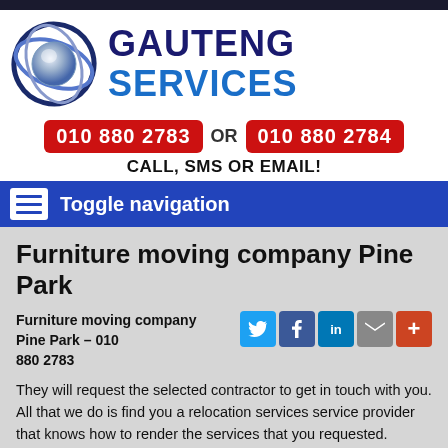[Figure (logo): Gauteng Services logo with globe/sphere and swoosh graphic, company name GAUTENG SERVICES in dark navy and blue]
010 880 2783 OR 010 880 2784
CALL, SMS OR EMAIL!
Toggle navigation
Furniture moving company Pine Park
Furniture moving company Pine Park – 010 880 2783
They will request the selected contractor to get in touch with you. All that we do is find you a relocation services service provider that knows how to render the services that you requested.
We are conducting business with service providers that are talented in this industry. We have relocation services companies in our database